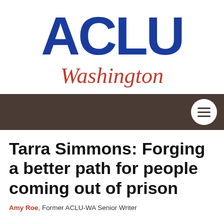[Figure (logo): ACLU Washington logo — large bold blue 'ACLU' text with italic red 'Washington' beneath it]
[Figure (other): Dark brown navigation bar with a circular hamburger menu icon on the right side]
Tarra Simmons: Forging a better path for people coming out of prison
Amy Roe, Former ACLU-WA Senior Writer